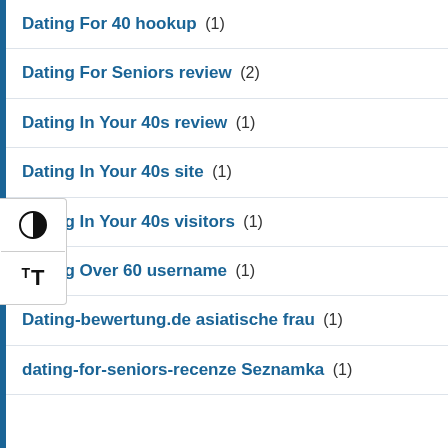Dating For 40 hookup (1)
Dating For Seniors review (2)
Dating In Your 40s review (1)
Dating In Your 40s site (1)
Dating In Your 40s visitors (1)
Dating Over 60 username (1)
Dating-bewertung.de asiatische frau (1)
dating-for-seniors-recenze Seznamka (1)